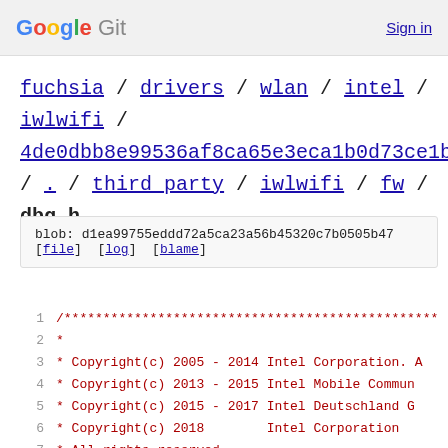Google Git  Sign in
fuchsia / drivers / wlan / intel / iwlwifi / 4de0dbb8e99536af8ca65e3eca1b0d73ce1bfeed / . / third_party / iwlwifi / fw / dbg.h
blob: d1ea99755eddd72a5ca23a56b45320c7b0505b47
[file] [log] [blame]
1   /************************************************
2   *
3   * Copyright(c) 2005 - 2014 Intel Corporation. A
4   * Copyright(c) 2013 - 2015 Intel Mobile Commun
5   * Copyright(c) 2015 - 2017 Intel Deutschland G
6   * Copyright(c) 2018        Intel Corporation
7   * All rights reserved.
8   *
9   * Redistribution and use in source and binary
10  * modification, are permitted provided that th